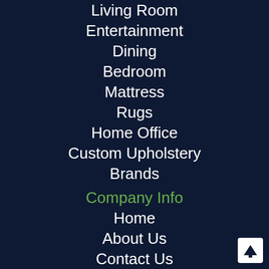Living Room
Entertainment
Dining
Bedroom
Mattress
Rugs
Home Office
Custom Upholstery
Brands
Company Info
Home
About Us
Contact Us